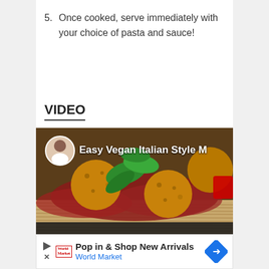5. Once cooked, serve immediately with your choice of pasta and sauce!
VIDEO
[Figure (photo): Video thumbnail showing vegan Italian-style meatballs on spaghetti with red sauce and fresh basil leaves. A circular avatar of a chef and text 'Easy Vegan Italian Style M' overlay the image.]
Pop in & Shop New Arrivals World Market